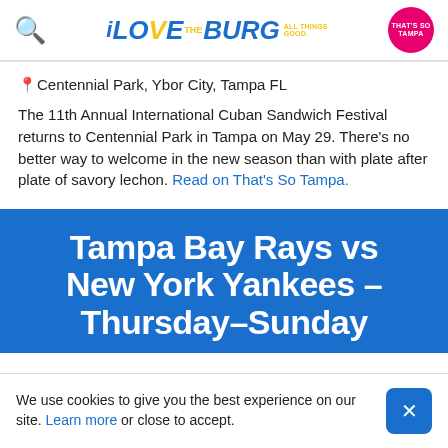iLOVEtheBURG ALL THINGS GOOD. [That's So Tampa badge]
📍Centennial Park, Ybor City, Tampa FL
The 11th Annual International Cuban Sandwich Festival returns to Centennial Park in Tampa on May 29. There's no better way to welcome in the new season than with plate after plate of savory lechon. Read on That's So Tampa.
Tampa Bay Rays vs New York Yankees – Thursday–Sunday
We use cookies to give you the best experience on our site. Learn more or close to accept.